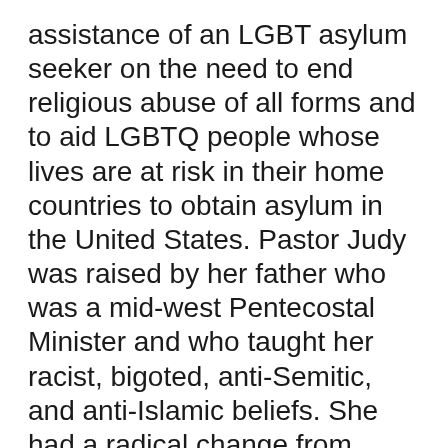assistance of an LGBT asylum seeker on the need to end religious abuse of all forms and to aid LGBTQ people whose lives are at risk in their home countries to obtain asylum in the United States. Pastor Judy was raised by her father who was a mid-west Pentecostal Minister and who taught her racist, bigoted, anti-Semitic, and anti-Islamic beliefs. She had a radical change from Pentecostal to Progressive Christian and no longer believes that nonsense. She co-founded the LGBT Asylum Task Force (www.lgbtasylum.org) in Worcester, MA 14 years ago and has assisted over 300 LGBTQ people to obtain